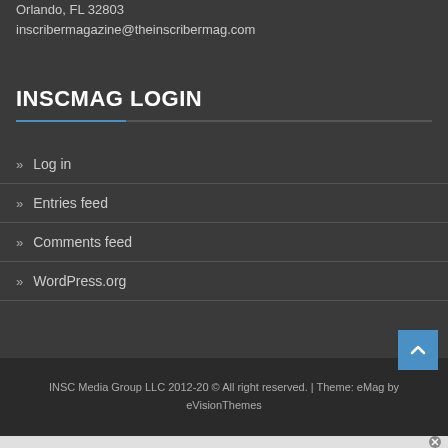Orlando, FL 32803
inscribermaga zine@theinscribermag.com
INSCMAG LOGIN
» Log in
» Entries feed
» Comments feed
» WordPress.org
INSC Media Group LLC 2012-20 © All right reserved. | Theme: eMag by eVisionThemes